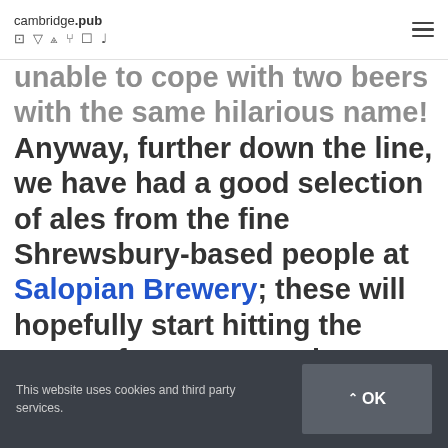cambridge.pub 🍺🍷🍸🍴☕🎵
unable to cope with two beers with the same hilarious name! Anyway, further down the line, we have had a good selection of ales from the fine Shrewsbury-based people at Salopian Brewery; these will hopefully start hitting the pumps from next week.
This website uses cookies and third party services. OK